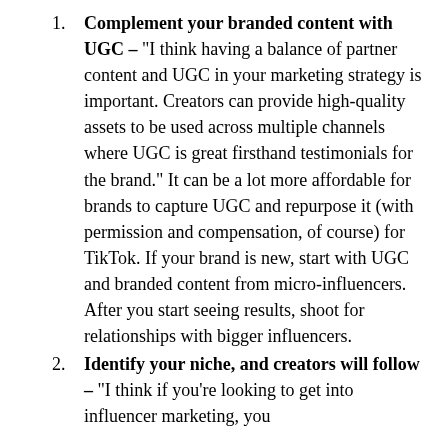Complement your branded content with UGC – "I think having a balance of partner content and UGC in your marketing strategy is important. Creators can provide high-quality assets to be used across multiple channels where UGC is great firsthand testimonials for the brand." It can be a lot more affordable for brands to capture UGC and repurpose it (with permission and compensation, of course) for TikTok. If your brand is new, start with UGC and branded content from micro-influencers. After you start seeing results, shoot for relationships with bigger influencers.
Identify your niche, and creators will follow – "I think if you're looking to get into influencer marketing, you must first identify your niche."